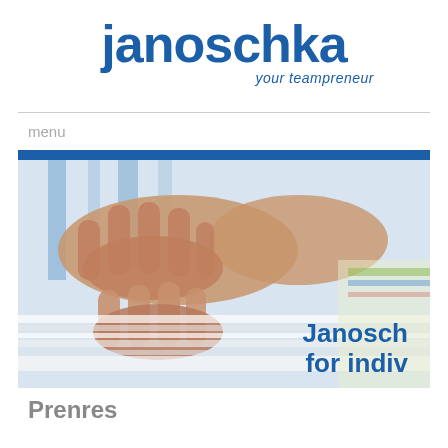janoschka your teampreneur
menu
[Figure (photo): Close-up photo of hands examining printed materials/documents with blue bar at top. Text overlay reads 'Janosch for indiv' in blue.]
Prenres